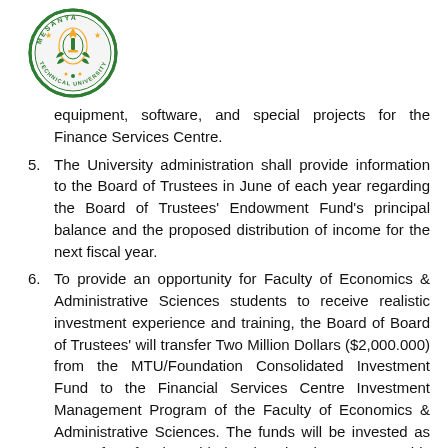[Figure (logo): Mesanya Technical University circular seal/logo in green and gold]
equipment, software, and special projects for the Finance Services Centre.
5. The University administration shall provide information to the Board of Trustees in June of each year regarding the Board of Trustees' Endowment Fund's principal balance and the proposed distribution of income for the next fiscal year.
6. To provide an opportunity for Faculty of Economics & Administrative Sciences students to receive realistic investment experience and training, the Board of Board of Trustees' will transfer Two Million Dollars ($2,000.000) from the MTU/Foundation Consolidated Investment Fund to the Financial Services Centre Investment Management Program of the Faculty of Economics & Administrative Sciences. The funds will be invested as part of anfaculty-guided educational program. This transfer is effective October 2020, in accordance with the Resolution adopted by the Board of Board of Trustees on October 2019, and implemented in